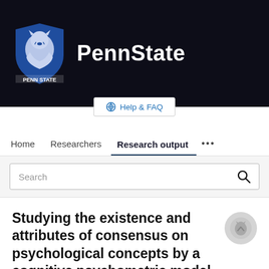[Figure (logo): Penn State University logo with lion shield and PennState text on dark background]
Help & FAQ
Home   Researchers   Research output   ...
Search
Studying the existence and attributes of consensus on psychological concepts by a cognitive psychometric model